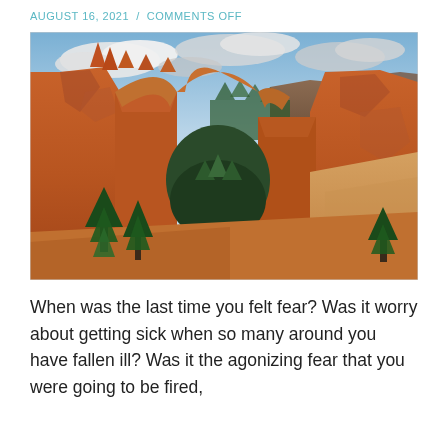AUGUST 16, 2021 / COMMENTS OFF
[Figure (photo): Landscape photograph of a natural stone arch in a red rock canyon, likely Bryce Canyon or similar Utah national park. The arch is a large circular opening in orange-red sandstone formations. Pine trees are visible in the foreground and through the arch. The sky is partly cloudy with blue patches.]
When was the last time you felt fear? Was it worry about getting sick when so many around you have fallen ill? Was it the agonizing fear that you were going to be fired,